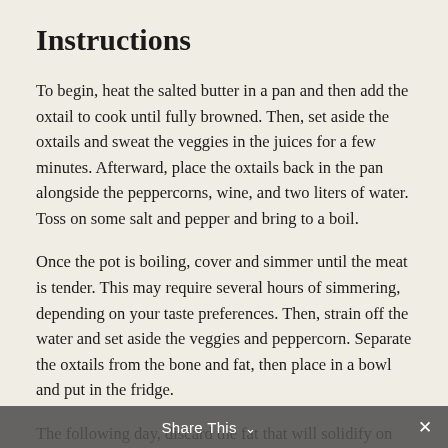Instructions
To begin, heat the salted butter in a pan and then add the oxtail to cook until fully browned. Then, set aside the oxtails and sweat the veggies in the juices for a few minutes. Afterward, place the oxtails back in the pan alongside the peppercorns, wine, and two liters of water. Toss on some salt and pepper and bring to a boil.
Once the pot is boiling, cover and simmer until the meat is tender. This may require several hours of simmering, depending on your taste preferences. Then, strain off the water and set aside the veggies and peppercorn. Separate the oxtails from the bone and fat, then place in a bowl and put in the fridge.
The following day, discard the fat that will solidify on the top of the bowl. Once the fat is removed, pour the stock in a pan with the meat and simmer. Add sherry and seasoning to taste and let simmer for five minutes. Serve with parsley to
Share This ˅  ✕